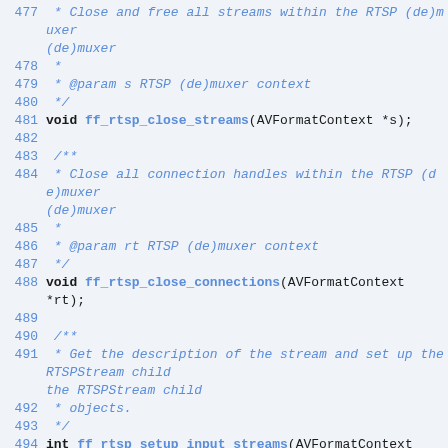477  * Close and free all streams within the RTSP (de)muxer
478  *
479  * @param s RTSP (de)muxer context
480  */
481 void ff_rtsp_close_streams(AVFormatContext *s);
482
483 /**
484  * Close all connection handles within the RTSP (de)muxer
485  *
486  * @param rt RTSP (de)muxer context
487  */
488 void ff_rtsp_close_connections(AVFormatContext *rt);
489
490 /**
491  * Get the description of the stream and set up the RTSPStream child
492  * objects.
493  */
494 int ff_rtsp_setup_input_streams(AVFormatContext *s, RTSPMessageHeader *reply);
495
496 /**